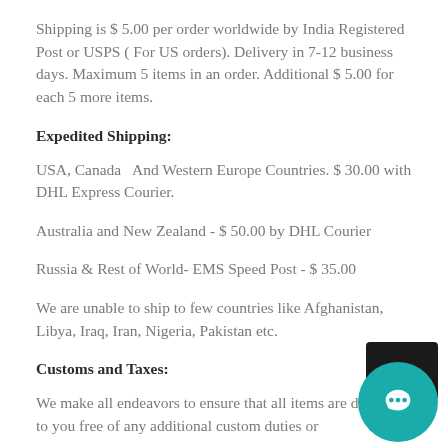Shipping is $ 5.00 per order worldwide by India Registered Post or USPS ( For US orders). Delivery in 7-12 business days. Maximum 5 items in an order. Additional $ 5.00 for each 5 more items.
Expedited Shipping:
USA, Canada  And Western Europe Countries. $ 30.00 with DHL Express Courier.
Australia and New Zealand - $ 50.00 by DHL Courier
Russia & Rest of World- EMS Speed Post - $ 35.00
We are unable to ship to few countries like Afghanistan, Libya, Iraq, Iran, Nigeria, Pakistan etc.
Customs and Taxes:
We make all endeavors to ensure that all items are delivered to you free of any additional custom duties or